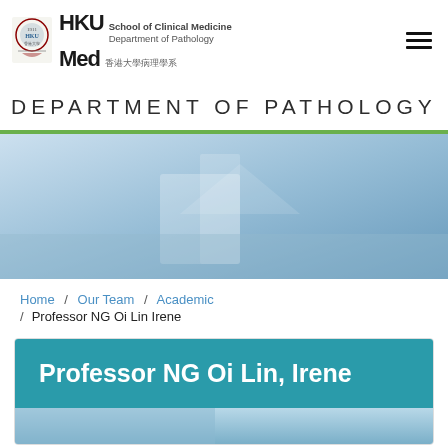[Figure (logo): HKU Med School of Clinical Medicine, Department of Pathology logo with university crest]
DEPARTMENT OF PATHOLOGY
[Figure (photo): Blue banner/header image for Department of Pathology website]
Home / Our Team / Academic / Professor NG Oi Lin Irene
Professor NG Oi Lin, Irene
[Figure (photo): Partially visible photo of Professor NG Oi Lin Irene]